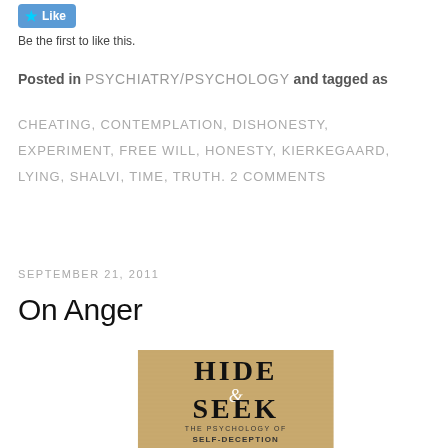[Figure (other): Like button with blue star icon]
Be the first to like this.
Posted in PSYCHIATRY/PSYCHOLOGY and tagged as
CHEATING, CONTEMPLATION, DISHONESTY, EXPERIMENT, FREE WILL, HONESTY, KIERKEGAARD, LYING, SHALVI, TIME, TRUTH. 2 COMMENTS
SEPTEMBER 21, 2011
On Anger
[Figure (photo): Book cover for 'Hide & Seek: The Psychology of Self-Deception' with tan/brown background and large serif text]